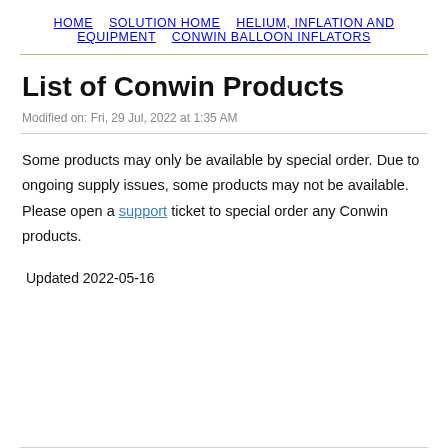HOME   SOLUTION HOME   HELIUM, INFLATION AND EQUIPMENT   CONWIN BALLOON INFLATORS
List of Conwin Products
Modified on: Fri, 29 Jul, 2022 at 1:35 AM
Some products may only be available by special order. Due to ongoing supply issues, some products may not be available. Please open a support ticket to special order any Conwin products.
Updated 2022-05-16